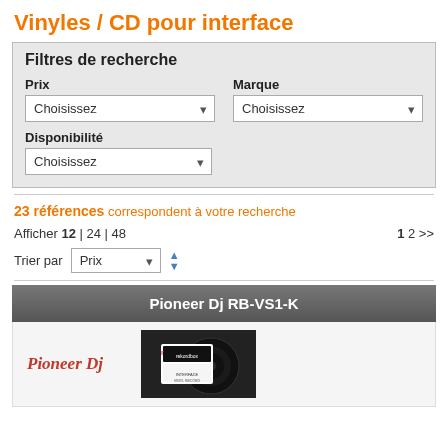Vinyles / CD pour interface
Filtres de recherche
Prix
Choisissez
Marque
Choisissez
Disponibilité
Choisissez
23 références correspondent à votre recherche
Afficher 12 | 24 | 48
1 2 >>
Trier par Prix
Pioneer Dj RB-VS1-K
[Figure (photo): Pioneer Dj product image with rekordbox vinyl record]